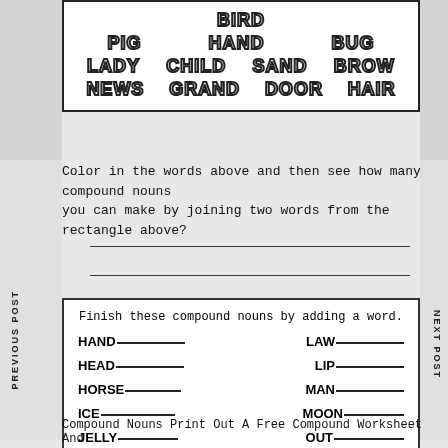[Figure (other): Word box with bubble-style words: BIRD (partial), PIG, HAND, BUG, LADY, CHILD, SAND, BROW, NEWS, GRAND, DOOR, HAIR]
Color in the words above and then see how many compound nouns you can make by joining two words from the rectangle above?
[Figure (other): Six blank writing lines for student responses]
Finish these compound nouns by adding a word.
HAND_________
LAW________
HEAD_________
LIP_________
HORSE_______
MAN________
ICE_________
MOON_______
JELLY________
OUT_________
Compound Nouns Print Out A Free Compound Worksheet And